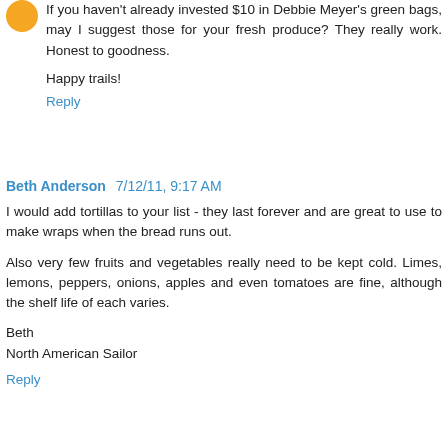[Figure (illustration): Orange circle avatar/icon in the top-left corner]
If you haven't already invested $10 in Debbie Meyer's green bags, may I suggest those for your fresh produce? They really work. Honest to goodness.
Happy trails!
Reply
Beth Anderson  7/12/11, 9:17 AM
I would add tortillas to your list - they last forever and are great to use to make wraps when the bread runs out.
Also very few fruits and vegetables really need to be kept cold. Limes, lemons, peppers, onions, apples and even tomatoes are fine, although the shelf life of each varies.
Beth
North American Sailor
Reply